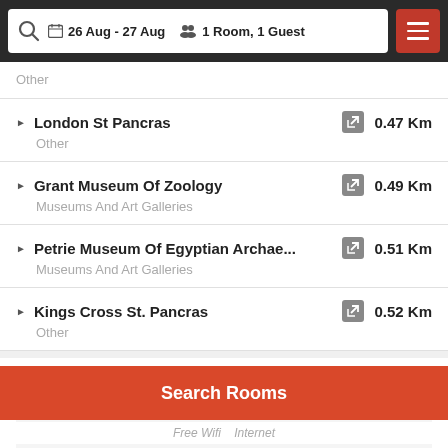26 Aug - 27 Aug | 1 Room, 1 Guest
Other
London St Pancras | Other | 0.47 Km
Grant Museum Of Zoology | Museums And Art Galleries | 0.49 Km
Petrie Museum Of Egyptian Archae... | Museums And Art Galleries | 0.51 Km
Kings Cross St. Pancras | Other | 0.52 Km
Facilities
Most popular facilities
Search Rooms
Free Wifi    Internet